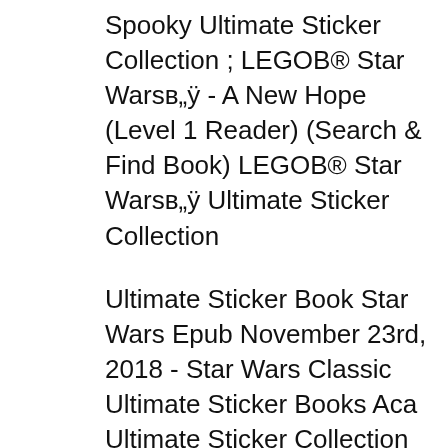Spooky Ultimate Sticker Collection ; LEGOB® Star Warsв„ÿ - A New Hope (Level 1 Reader) (Search & Find Book) LEGOB® Star Warsв„ÿ Ultimate Sticker Collection
Ultimate Sticker Book Star Wars Epub November 23rd, 2018 - Star Wars Classic Ultimate Sticker Books Aca Ultimate Sticker Collection Star Wars The Force Awakens The Other Format of the Star Wars Blueprints: The Ultimate Collection by Ryder Windham, Chris Trevas, Chris Reiff at Barnes & Noble. FREE Shipping
Battle of the Books! LEGO LEGOB® Star Wars Heroes Ultimate Sticker Book ;